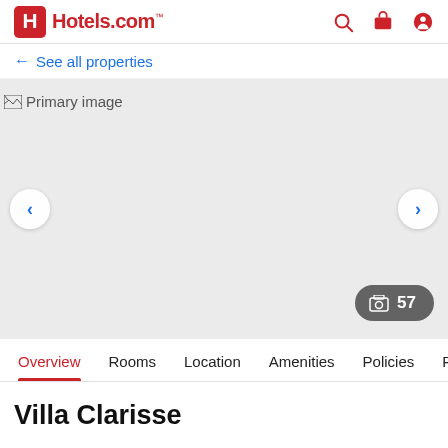Hotels.com
← See all properties
[Figure (photo): Primary image placeholder for hotel photo gallery with navigation arrows and photo count badge showing 57 photos]
Overview  Rooms  Location  Amenities  Policies  Reviews
Villa Clarisse